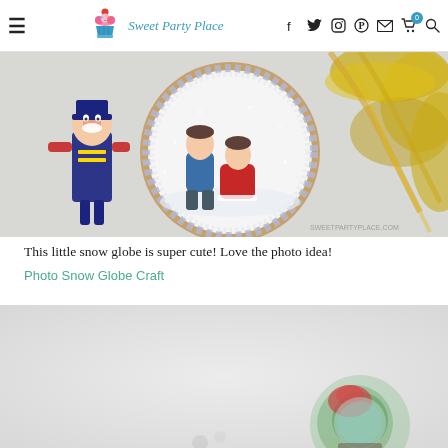Sweet Party Place — navigation header with hamburger menu, logo, and social/cart icons
[Figure (photo): Overhead photo of a round decorated cookie resembling a snow globe, with a photo of two children printed on it, surrounded by a glittery border. Nutcracker figurine on left, gold tinsel decorations on right.]
This little snow globe is super cute! Love the photo idea!
Photo Snow Globe Craft
[Figure (photo): Light gray background photo showing a blurred colorful snow globe ornament in the lower right corner.]